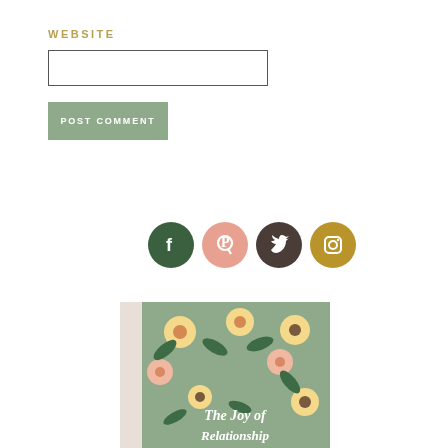WEBSITE
[Figure (screenshot): Website text input field (empty)]
[Figure (screenshot): POST COMMENT button in sage green]
[Figure (infographic): Four social media icons: Facebook (dark green circle), Pinterest (salmon circle), Twitter (dark brown circle), Instagram (gold circle)]
[Figure (illustration): Book cover showing The Joy of Relationship with floral pattern on sage green background]